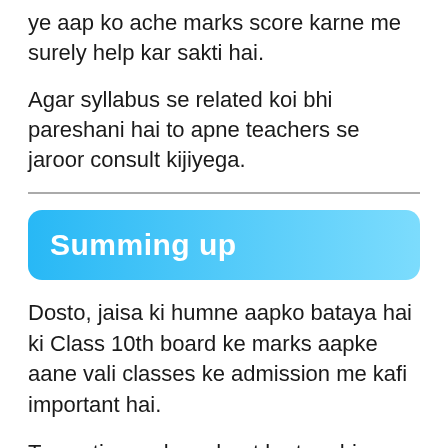ye aap ko ache marks score karne me surely help kar sakti hai.
Agar syllabus se related koi bhi pareshani hai to apne teachers se jaroor consult kijiyega.
Summing up
Dosto, jaisa ki humne aapko bataya hai ki Class 10th board ke marks aapke aane vali classes ke admission me kafi important hai.
To continuously mehnat karte rahiye and Bihar Board 10th Class Important Question 2022 PDF Download karke un questions ko solve jaroor kijiye.